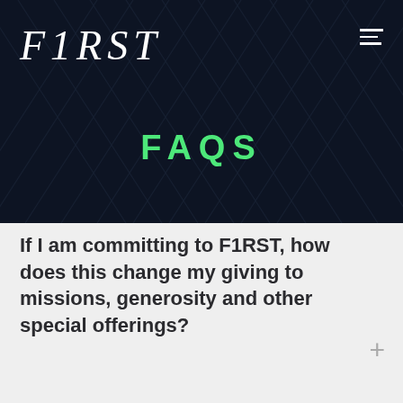[Figure (logo): F1RST logo in italic serif white text on dark navy background with geometric pattern overlay]
FAQS
If I am committing to F1RST, how does this change my giving to missions, generosity and other special offerings?